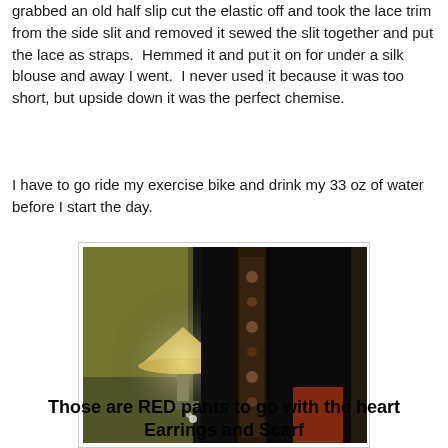grabbed an old half slip cut the elastic off and took the lace trim from the side slit and removed it sewed the slit together and put the lace as straps.  Hemmed it and put it on for under a silk blouse and away I went.  I never used it because it was too short, but upside down it was the perfect chemise.
I have to go ride my exercise bike and drink my 33 oz of water before I start the day.
[Figure (photo): Dark room scene with a lamp with a yellow/green shade illuminated, and dark fabric/pants hanging, with patterned lace trim visible. Orange/red item visible in background.]
Those are RED pants to go with the heart Earrings and Scarf